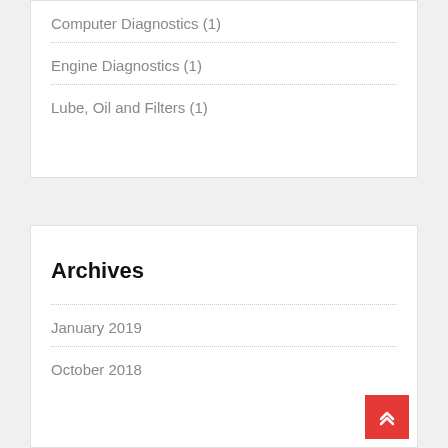Computer Diagnostics (1)
Engine Diagnostics (1)
Lube, Oil and Filters (1)
Archives
January 2019
October 2018